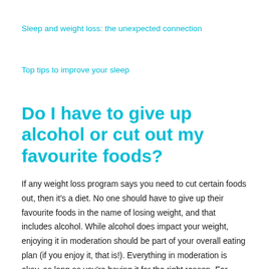Sleep and weight loss: the unexpected connection
Top tips to improve your sleep
Do I have to give up alcohol or cut out my favourite foods?
If any weight loss program says you need to cut certain foods out, then it's a diet. No one should have to give up their favourite foods in the name of losing weight, and that includes alcohol. While alcohol does impact your weight, enjoying it in moderation should be part of your overall eating plan (if you enjoy it, that is!). Everything in moderation is okay, as long as you're having it for the right reason. For example, if you're enjoying a drink in a social